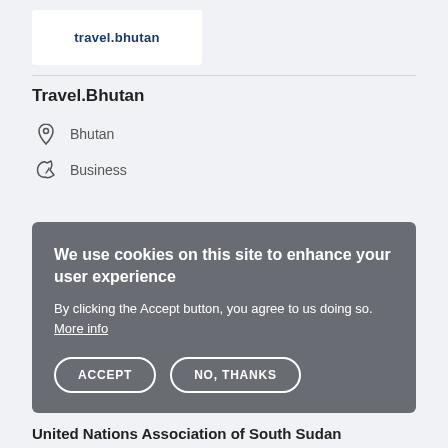[Figure (logo): Travel.Bhutan logo text in dark blue]
Travel.Bhutan
Bhutan
Business
We use cookies on this site to enhance your user experience
By clicking the Accept button, you agree to us doing so. More info
ACCEPT   NO, THANKS
United Nations Association of South Sudan